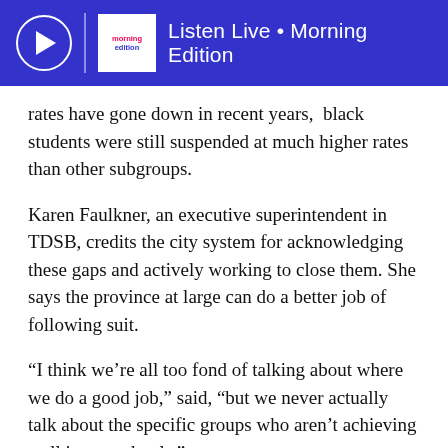Listen Live • Morning Edition
rates have gone down in recent years,  black students were still suspended at much higher rates than other subgroups.
Karen Faulkner, an executive superintendent in TDSB, credits the city system for acknowledging these gaps and actively working to close them. She says the province at large can do a better job of following suit.
“I think we’re all too fond of talking about where we do a good job,” said, “but we never actually talk about the specific groups who aren’t achieving well in our schools.”
There were also some encouraging trends in Toronto’s data.